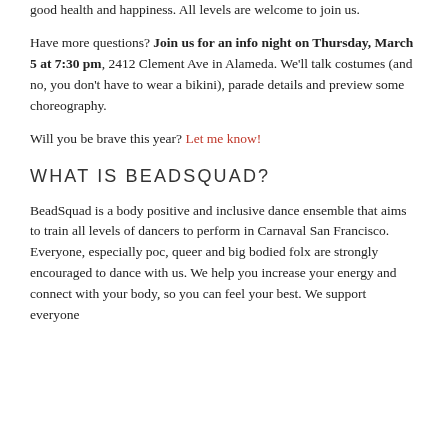good health and happiness. All levels are welcome to join us.
Have more questions? Join us for an info night on Thursday, March 5 at 7:30 pm, 2412 Clement Ave in Alameda. We'll talk costumes (and no, you don't have to wear a bikini), parade details and preview some choreography.
Will you be brave this year? Let me know!
WHAT IS BEADSQUAD?
BeadSquad is a body positive and inclusive dance ensemble that aims to train all levels of dancers to perform in Carnaval San Francisco. Everyone, especially poc, queer and big bodied folx are strongly encouraged to dance with us. We help you increase your energy and connect with your body, so you can feel your best. We support everyone